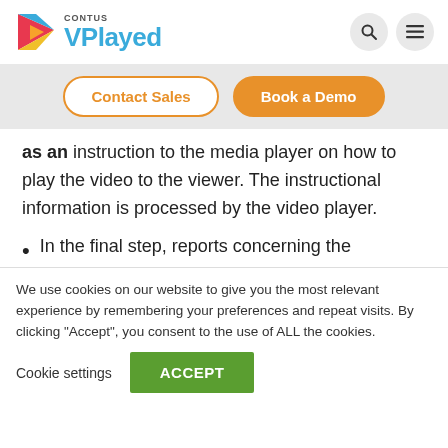[Figure (logo): Contus VPlayed logo with colorful triangle/play-button icon and blue text]
Contact Sales
Book a Demo
as an instruction to the media player on how to play the video to the viewer. The instructional information is processed by the video player.
In the final step, reports concerning the
We use cookies on our website to give you the most relevant experience by remembering your preferences and repeat visits. By clicking "Accept", you consent to the use of ALL the cookies.
Cookie settings
ACCEPT